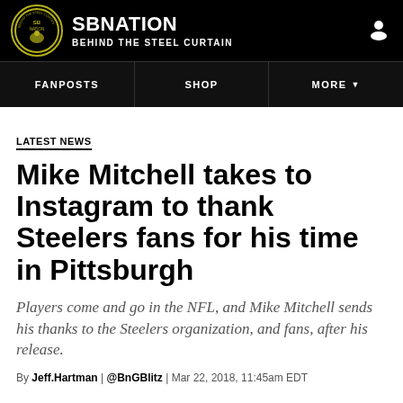SB NATION — BEHIND THE STEEL CURTAIN
LATEST NEWS
Mike Mitchell takes to Instagram to thank Steelers fans for his time in Pittsburgh
Players come and go in the NFL, and Mike Mitchell sends his thanks to the Steelers organization, and fans, after his release.
By Jeff.Hartman | @BnGBlitz | Mar 22, 2018, 11:45am EDT